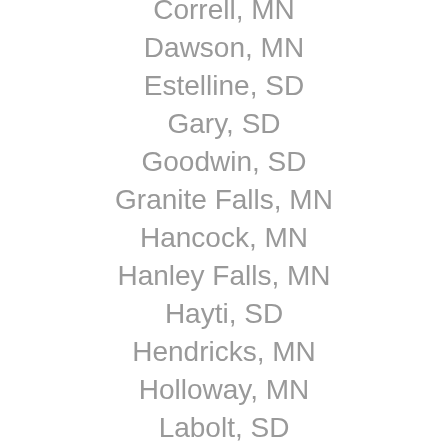Correll, MN
Dawson, MN
Estelline, SD
Gary, SD
Goodwin, SD
Granite Falls, MN
Hancock, MN
Hanley Falls, MN
Hayti, SD
Hendricks, MN
Holloway, MN
Labolt, SD
Lake Norden, SD
Madison, MN
Marietta, MN
Marshall, MN
Marvin, SD